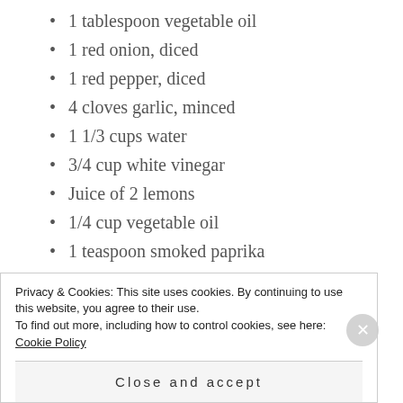1 tablespoon vegetable oil
1 red onion, diced
1 red pepper, diced
4 cloves garlic, minced
1 1/3 cups water
3/4 cup white vinegar
Juice of 2 lemons
1/4 cup vegetable oil
1 teaspoon smoked paprika
3/4 teaspoon salt
Privacy & Cookies: This site uses cookies. By continuing to use this website, you agree to their use.
To find out more, including how to control cookies, see here: Cookie Policy
Close and accept